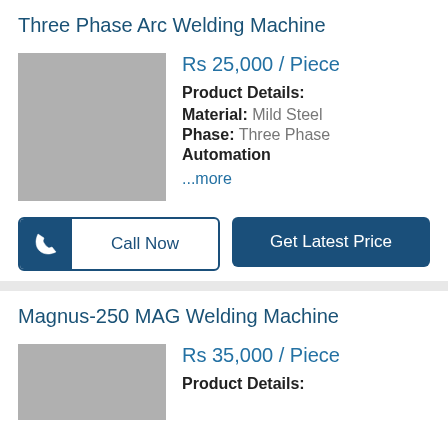Three Phase Arc Welding Machine
Rs 25,000 / Piece
Product Details:
Material: Mild Steel
Phase: Three Phase
Automation
...more
Magnus-250 MAG Welding Machine
Rs 35,000 / Piece
Product Details: